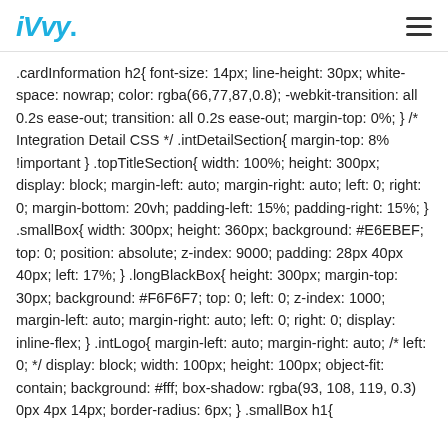iVvy. [hamburger menu icon]
.cardInformation h2{ font-size: 14px; line-height: 30px; white-space: nowrap; color: rgba(66,77,87,0.8); -webkit-transition: all 0.2s ease-out; transition: all 0.2s ease-out; margin-top: 0%; } /* Integration Detail CSS */ .intDetailSection{ margin-top: 8% !important } .topTitleSection{ width: 100%; height: 300px; display: block; margin-left: auto; margin-right: auto; left: 0; right: 0; margin-bottom: 20vh; padding-left: 15%; padding-right: 15%; } .smallBox{ width: 300px; height: 360px; background: #E6EBEF; top: 0; position: absolute; z-index: 9000; padding: 28px 40px 40px; left: 17%; } .longBlackBox{ height: 300px; margin-top: 30px; background: #F6F6F7; top: 0; left: 0; z-index: 1000; margin-left: auto; margin-right: auto; left: 0; right: 0; display: inline-flex; } .intLogo{ margin-left: auto; margin-right: auto; /* left: 0; */ display: block; width: 100px; height: 100px; object-fit: contain; background: #fff; box-shadow: rgba(93, 108, 119, 0.3) 0px 4px 14px; border-radius: 6px; } .smallBox h1{